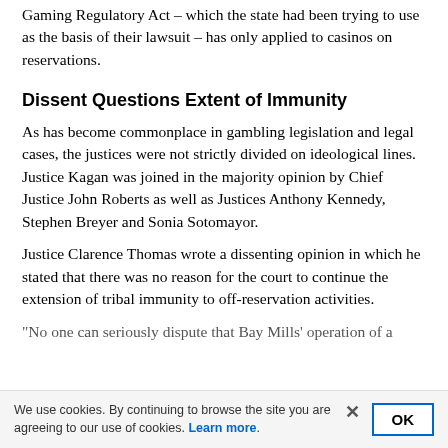Gaming Regulatory Act – which the state had been trying to use as the basis of their lawsuit – has only applied to casinos on reservations.
Dissent Questions Extent of Immunity
As has become commonplace in gambling legislation and legal cases, the justices were not strictly divided on ideological lines. Justice Kagan was joined in the majority opinion by Chief Justice John Roberts as well as Justices Anthony Kennedy, Stephen Breyer and Sonia Sotomayor.
Justice Clarence Thomas wrote a dissenting opinion in which he stated that there was no reason for the court to continue the extension of tribal immunity to off-reservation activities.
"No one can seriously dispute that Bay Mills' operation of a
We use cookies. By continuing to browse the site you are agreeing to our use of cookies. Learn more.